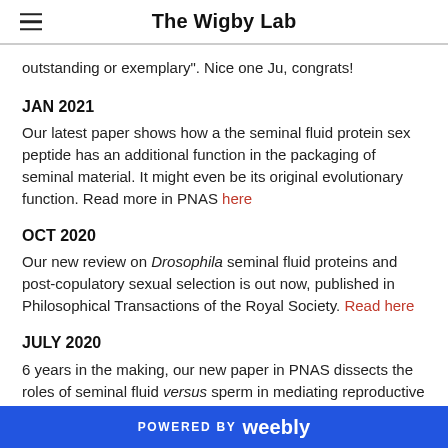The Wigby Lab
outstanding or exemplary". Nice one Ju, congrats!
JAN 2021
Our latest paper shows how a the seminal fluid protein sex peptide has an additional function in the packaging of seminal material. It might even be its original evolutionary function. Read more in PNAS here
OCT 2020
Our new review on Drosophila seminal fluid proteins and post-copulatory sexual selection is out now, published in Philosophical Transactions of the Royal Society. Read here
JULY 2020
6 years in the making, our new paper in PNAS dissects the roles of seminal fluid versus sperm in mediating reproductive
POWERED BY weebly